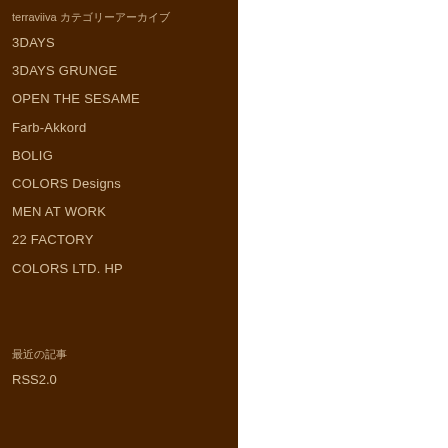terraviiva カテゴリーアーカイブ
3DAYS
3DAYS GRUNGE
OPEN THE SESAME
Farb-Akkord
BOLIG
COLORS Designs
MEN AT WORK
22 FACTORY
COLORS LTD. HP
最近の記事
RSS2.0